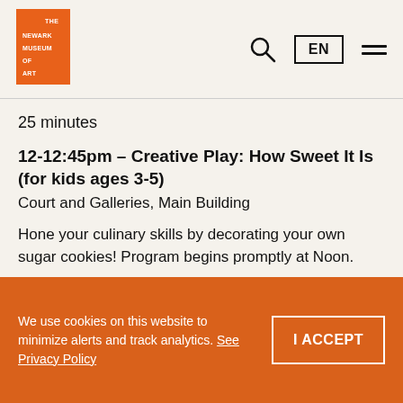[Figure (logo): The Newark Museum of Art logo — orange cross/plus shape with white text]
25 minutes
12-12:45pm – Creative Play: How Sweet It Is (for kids ages 3-5)
Court and Galleries, Main Building
Hone your culinary skills by decorating your own sugar cookies! Program begins promptly at Noon.
1-4pm – Family Drop-In: Mini Keepsake (for kids ages 5-10)
We use cookies on this website to minimize alerts and track analytics. See Privacy Policy